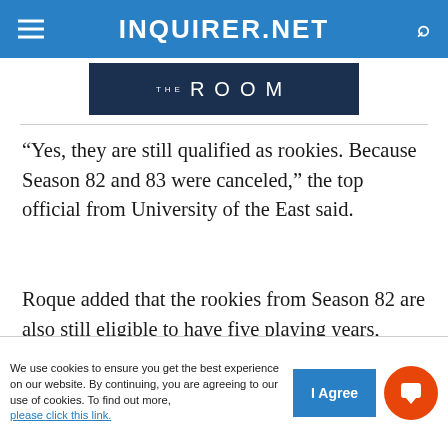INQUIRER.NET
[Figure (logo): THE ROOM logo on dark navy background]
“Yes, they are still qualified as rookies. Because Season 82 and 83 were canceled,” the top official from University of the East said.
Roque added that the rookies from Season 82 are also still eligible to have five playing years, including this season, as long as they won’t reach the age limit of 25 years old.
We use cookies to ensure you get the best experience on our website. By continuing, you are agreeing to our use of cookies. To find out more, please click this link.